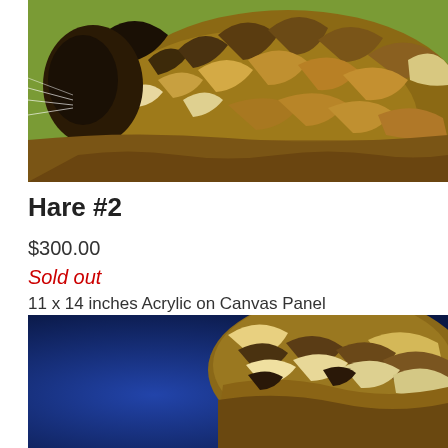[Figure (photo): Close-up painting of a hare's face and fur with brown, white, and black tones against a green background. Acrylic artwork showing detailed fur texture.]
Hare #2
$300.00
Sold out
11 x 14 inches Acrylic on Canvas Panel
[Figure (photo): Close-up painting of a hare's fur/body against a deep blue background. Acrylic artwork showing detailed fur texture in brown and white tones.]